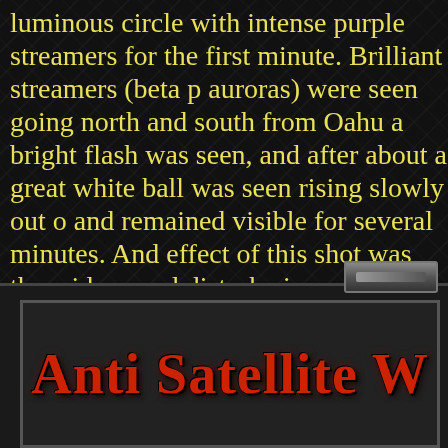luminous circle with intense purple streamers for the first minute. Brilliant streamers (beta p auroras) were seen going north and south from Oahu a bright flash was seen, and after about a great white ball was seen rising slowly out of and remained visible for several minutes. And effect of this shot was the widespread disturbance ionosphere and the consequent disruption of r communications over the central Pacific, which lasted at least three hours."
[Figure (illustration): Gray rectangular button/badge element against dark background]
[Figure (illustration): Dark panel with framed inner section containing 'Anti Satellite W' title text in large red bold font on dark background]